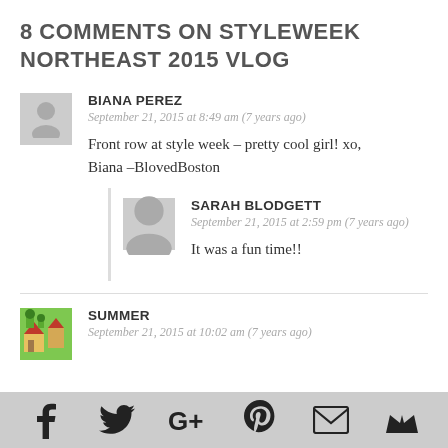8 COMMENTS ON STYLEWEEK NORTHEAST 2015 VLOG
BIANA PEREZ
September 21, 2015 at 8:49 am (7 years ago)
Front row at style week – pretty cool girl! xo, Biana –BlovedBoston
SARAH BLODGETT
September 21, 2015 at 2:59 pm (7 years ago)
It was a fun time!!
SUMMER
September 21, 2015 at 10:02 am (7 years ago)